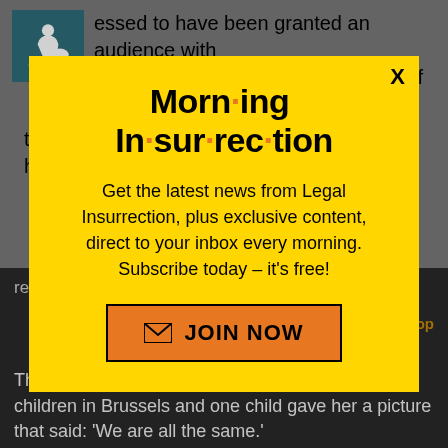…essed to have been granted an audience with …pe Francis, and she shared stories of her time spent with sick children in various hospitals.
[Figure (infographic): Morning Insurrection newsletter popup modal with yellow background, title 'Morn·ing In·sur·rec·tion', subscription text, and JOIN NOW button]
recovery, she said.
The first lady also recalled drawing pictures with children in Brussels and one child gave her a picture that said: 'We are all the same.'